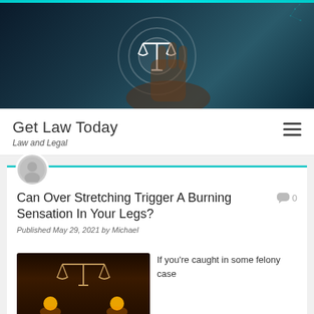[Figure (photo): Hero banner image showing a hand pressing a glowing scales of justice icon on a dark tech background with circuit patterns]
Get Law Today
Law and Legal
Can Over Stretching Trigger A Burning Sensation In Your Legs?
Published May 29, 2021 by Michael
[Figure (photo): Image of balanced scales of justice with bright lights and orange text reading LEGAL LYNCHING]
If you're caught in some felony case